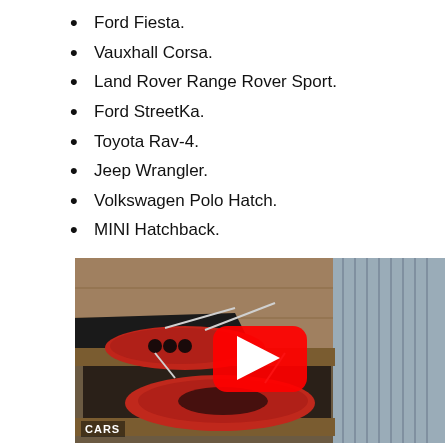Ford Fiesta.
Vauxhall Corsa.
Land Rover Range Rover Sport.
Ford StreetKa.
Toyota Rav-4.
Jeep Wrangler.
Volkswagen Polo Hatch.
MINI Hatchback.
[Figure (screenshot): YouTube video thumbnail showing red car body parts submerged in a dark liquid bath inside a wooden container in a barn/warehouse setting. A red YouTube play button is overlaid in the center. A 'CARS' label appears in the lower left corner.]